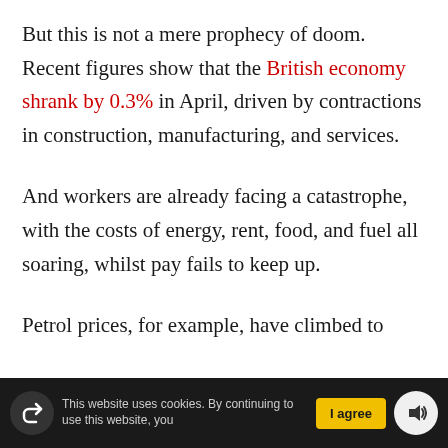But this is not a mere prophecy of doom. Recent figures show that the British economy shrank by 0.3% in April, driven by contractions in construction, manufacturing, and services.
And workers are already facing a catastrophe, with the costs of energy, rent, food, and fuel all soaring, whilst pay fails to keep up.
Petrol prices, for example, have climbed to
This website uses cookies. By continuing to use this website, you